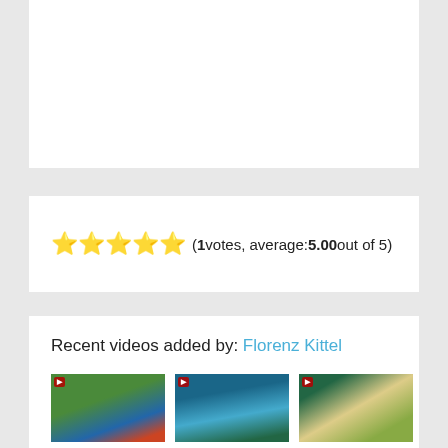[Figure (photo): White card area at top, blank/empty image area]
★★★★★ (1 votes, average: 5.00 out of 5)
Recent videos added by: Florenz Kittel
[Figure (photo): Aerial video thumbnail showing buildings and trees]
[Figure (photo): Aerial video thumbnail showing beach and water]
[Figure (photo): Aerial video thumbnail showing tropical beach and trees]